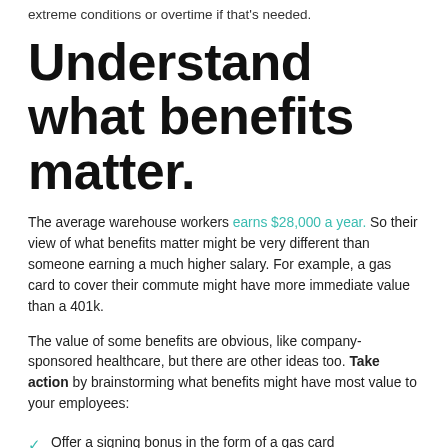extreme conditions or overtime if that's needed.
Understand what benefits matter.
The average warehouse workers earns $28,000 a year. So their view of what benefits matter might be very different than someone earning a much higher salary. For example, a gas card to cover their commute might have more immediate value than a 401k.
The value of some benefits are obvious, like company-sponsored healthcare, but there are other ideas too. Take action by brainstorming what benefits might have most value to your employees:
Offer a signing bonus in the form of a gas card